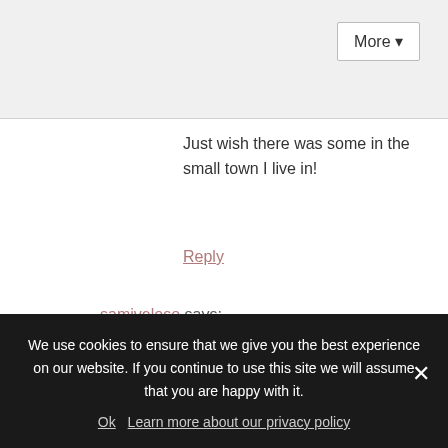[Figure (screenshot): Top bar area with a More dropdown button in the top right corner]
Just wish there was some in the small town I live in!
Reply
samiveloso says:
February 11, 2017 at 4:11 pm
[Figure (screenshot): Follow me on: modal dialog with social media icons (Facebook, Instagram, Pinterest, Twitter, Bloglovin, RSS) and a close button (x). Below icons shows start of 'Or sign up to my newsletter' text.]
We use cookies to ensure that we give you the best experience on our website. If you continue to use this site we will assume that you are happy with it.
Ok   Learn more about our privacy policy